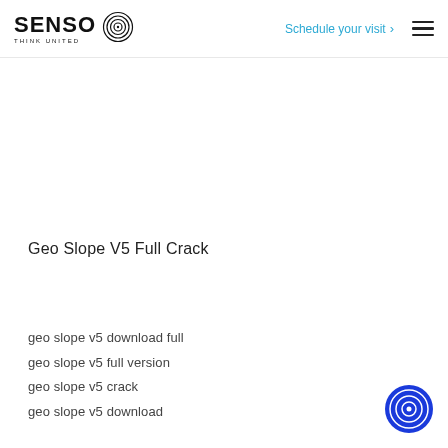SENSO THINK UNITED | Schedule your visit
Geo Slope V5 Full Crack
geo slope v5 download full
geo slope v5 full version
geo slope v5 crack
geo slope v5 download